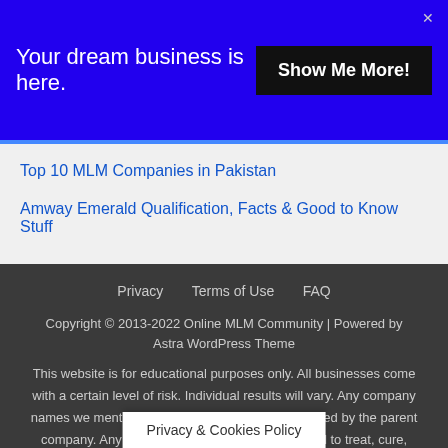[Figure (other): Blue banner advertisement: 'Your dream business is here.' with 'Show Me More!' button]
Top 10 MLM Companies in Pakistan
Amway Emerald Qualification, Facts & Good to Know Stuff
Privacy   Terms of Use   FAQ
Copyright © 2013-2022 Online MLM Community | Powered by Astra WordPress Theme
This website is for educational purposes only. All businesses come with a certain level of risk. Individual results will vary. Any company names we mention are registered trademarks, owned by the parent company. Any product we discuss is not designed to treat, cure, prevent or diagnose any disease. We may earn an affiliate commission from some d… nd. We are
Privacy & Cookies Policy